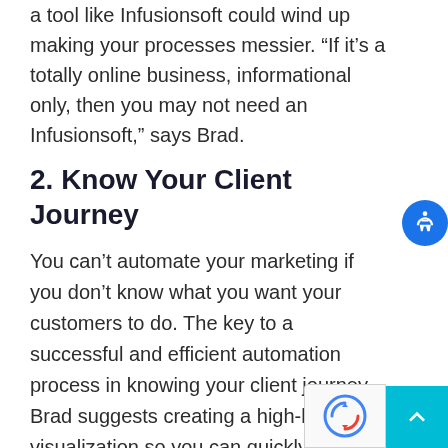a tool like Infusionsoft could wind up making your processes messier. “If it’s a totally online business, informational only, then you may not need an Infusionsoft,” says Brad.
2. Know Your Client Journey
You can’t automate your marketing if you don’t know what you want your customers to do. The key to a successful and efficient automation process in knowing your client journey. Brad suggests creating a high-level visualization so you can quickly